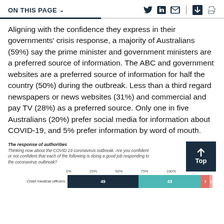ON THIS PAGE
Aligning with the confidence they express in their governments' crisis response, a majority of Australians (59%) say the prime minister and government ministers are a preferred source of information. The ABC and government websites are a preferred source of information for half the country (50%) during the outbreak. Less than a third regard newspapers or news websites (31%) and commercial and pay TV (28%) as a preferred source. Only one in five Australians (20%) prefer social media for information about COVID-19, and 5% prefer information by word of mouth.
The response of authorities
Thinking now about the COVID 19 coronavirus outbreak. Are you confident or not confident that each of the following is doing a good job responding to the coronavirus outbreak?
[Figure (stacked-bar-chart): The response of authorities]